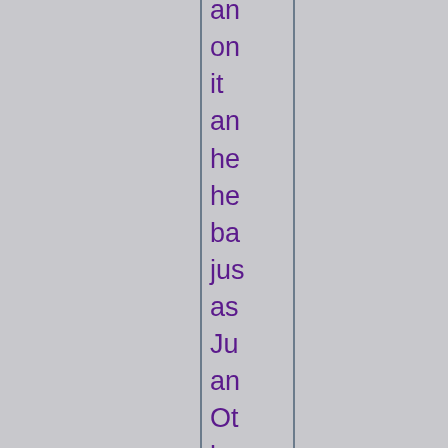an
on
it
an
he
he
ba
jus
as
Ju
an
Ot
lay
rub
for
the
ap
tre
bu